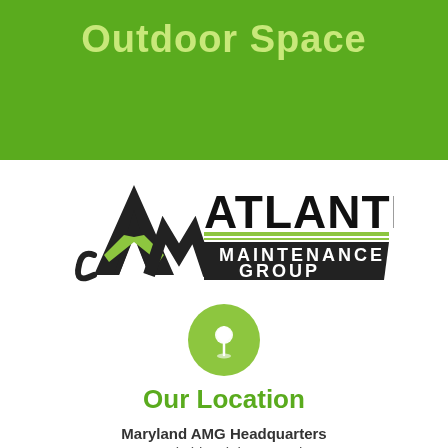Outdoor Space
[Figure (logo): Atlantic Maintenance Group logo with stylized AM mountain peak graphic and green/black banner design]
[Figure (illustration): Green circle with white location pin/map marker icon]
Our Location
Maryland AMG Headquarters
6710-E Ritchie Highway, Unit 470